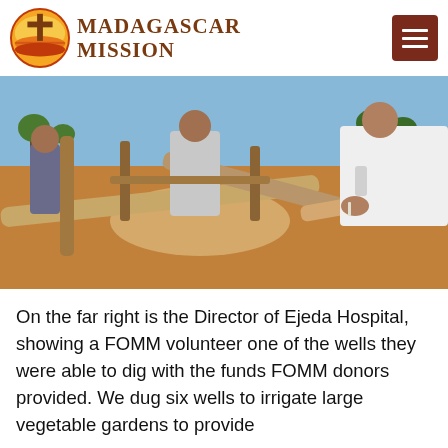MADAGASCAR MISSION
[Figure (photo): People standing around wooden logs being worked on near a well site in Madagascar, with sandy red soil in the background. The far right person wears a white coat.]
On the far right is the Director of Ejeda Hospital, showing a FOMM volunteer one of the wells they were able to dig with the funds FOMM donors provided. We dug six wells to irrigate large vegetable gardens to provide